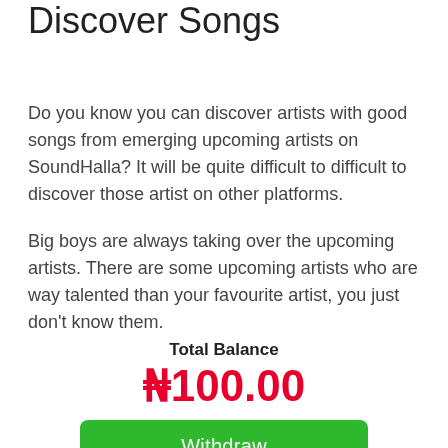Discover Songs
Do you know you can discover artists with good songs from emerging upcoming artists on SoundHalla? It will be quite difficult to difficult to discover those artist on other platforms.
Big boys are always taking over the upcoming artists. There are some upcoming artists who are way talented than your favourite artist, you just don't know them.
Total Balance
₦100.00
Withdraw